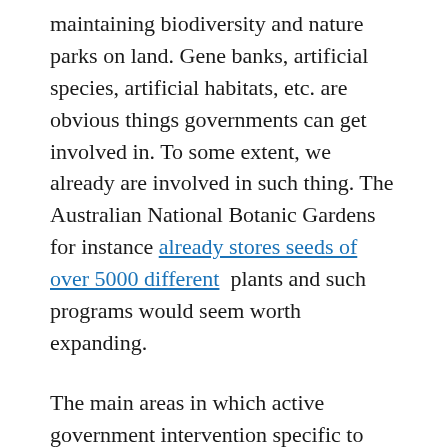maintaining biodiversity and nature parks on land. Gene banks, artificial species, artificial habitats, etc. are obvious things governments can get involved in. To some extent, we already are involved in such thing. The Australian National Botanic Gardens for instance already stores seeds of over 5000 different plants and such programs would seem worth expanding.
The main areas in which active government intervention specific to Australia would seem desirable are hence in terms of our unique natural habitats and waters. One would want to invest in our ability to re-stock habitats and to engineer species and plants capable of thriving in the new conditions. The two tasks, habitat